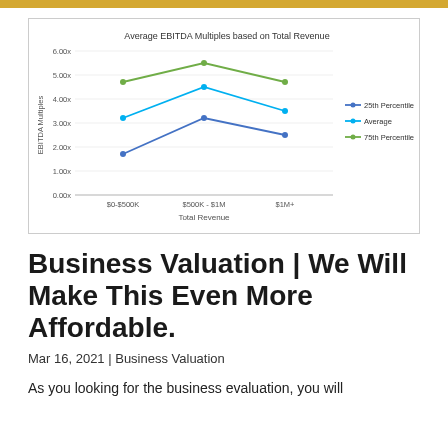[Figure (line-chart): Average EBITDA Multiples based on Total Revenue]
Business Valuation | We Will Make This Even More Affordable.
Mar 16, 2021 | Business Valuation
As you looking for the business evaluation, you will